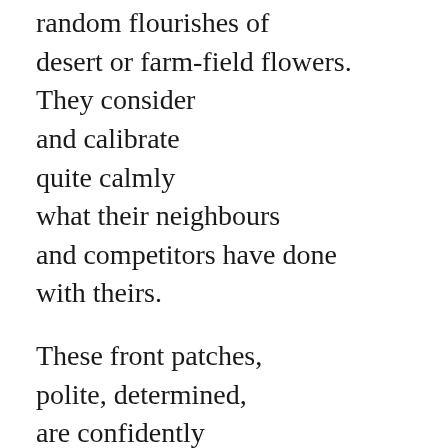random flourishes of
desert or farm-field flowers.
They consider
and calibrate
quite calmly
what their neighbours
and competitors have done
with theirs.

These front patches,
polite, determined,
are confidently
worthy of scrutiny
by Tony Evans
or the charmed appraisal
of Monty Don.

I remember knowing people
in large houses –